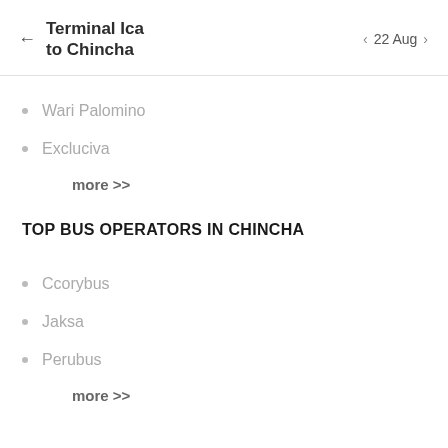Terminal Ica to Chincha · 22 Aug
Wari Palomino
Excluciva
more >>
TOP BUS OPERATORS IN CHINCHA
Ccorybus
Jaksa
Perubus
more >>